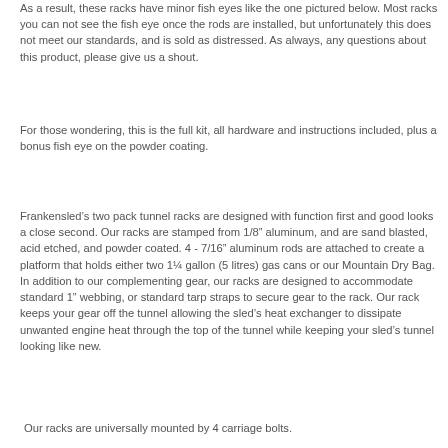As a result, these racks have minor fish eyes like the one pictured below.  Most racks you can not see the fish eye once the rods are installed, but unfortunately this does not meet our standards, and is sold as distressed.  As always, any questions about this product, please give us a shout.
For those wondering, this is the full kit, all hardware and instructions included, plus a bonus fish eye on the powder coating.
Frankensled's two pack tunnel racks are designed with function first and good looks a close second.  Our racks are stamped from 1/8" aluminum, and are sand blasted, acid etched, and powder coated.  4 - 7/16" aluminum rods are attached to create a platform that holds either two 1¼ gallon (5 litres) gas cans or our Mountain Dry Bag.  In addition to our complementing gear, our racks are designed to accommodate standard 1" webbing, or standard tarp straps to secure gear to the rack.  Our rack keeps your gear off the tunnel allowing the sled's heat exchanger to dissipate unwanted engine heat through the top of the tunnel while keeping your sled's tunnel looking like new.
Our racks are universally mounted by 4 carriage bolts.